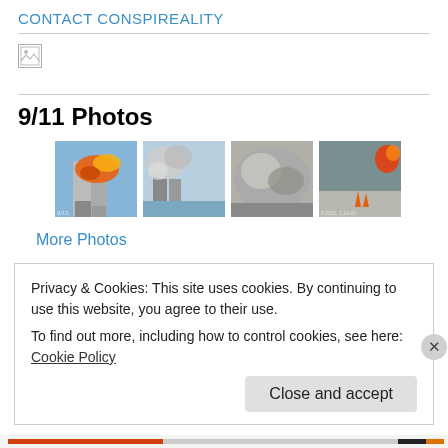CONTACT CONSPIREALITY
[Figure (photo): Broken/missing image placeholder (small white square with broken image icon)]
9/11 Photos
[Figure (photo): Four 9/11 thumbnail photos: WTC tower with explosion, WTC towers with smoke and harbor, debris cloud/smoke, and a road scene with orange cones and fire/explosion]
More Photos
Privacy & Cookies: This site uses cookies. By continuing to use this website, you agree to their use.
To find out more, including how to control cookies, see here: Cookie Policy
Close and accept